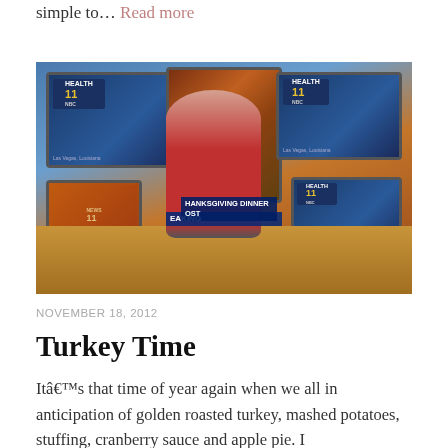simple to… Read more
[Figure (photo): A woman in a red top standing at a table decorated with Thanksgiving items on a TV news studio set with multiple screens showing 'THANKSGIVING DINNER COST' and 'BREAKING' news banners, News 11 NBC logos visible on screens]
NOVEMBER 18, 2012
Turkey Time
Itâs that time of year again when we all in anticipation of golden roasted turkey, mashed potatoes, stuffing, cranberry sauce and apple pie. I